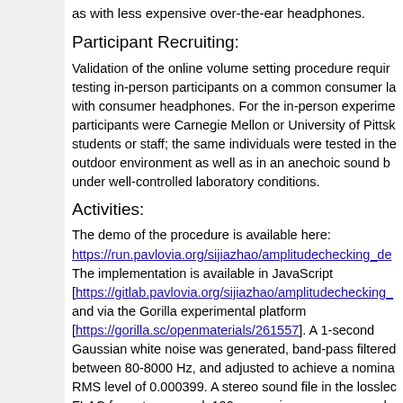as with less expensive over-the-ear headphones.
Participant Recruiting:
Validation of the online volume setting procedure required testing in-person participants on a common consumer laptop with consumer headphones. For the in-person experiment, participants were Carnegie Mellon or University of Pittsburgh students or staff; the same individuals were tested in the outdoor environment as well as in an anechoic sound booth under well-controlled laboratory conditions.
Activities:
The demo of the procedure is available here: https://run.pavlovia.org/sijiazhao/amplitudechecking_de The implementation is available in JavaScript [https://gitlab.pavlovia.org/sijiazhao/amplitudechecking_ and via the Gorilla experimental platform [https://gorilla.sc/openmaterials/261557]. A 1-second Gaussian white noise was generated, band-pass filtered between 80-8000 Hz, and adjusted to achieve a nominal RMS level of 0.000399. A stereo sound file in the lossless FLAC format was used. 100-ms cosine ramps were added